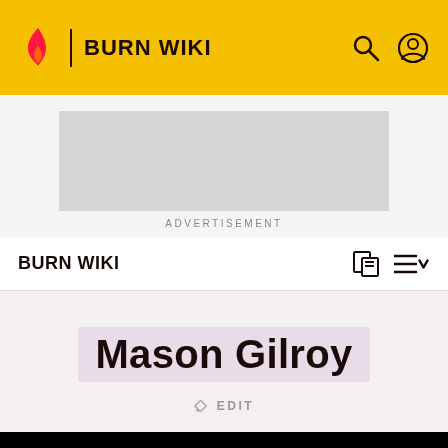BURN WIKI
[Figure (screenshot): Advertisement placeholder — grey rectangle]
ADVERTISEMENT
BURN WIKI
Mason Gilroy
EDIT